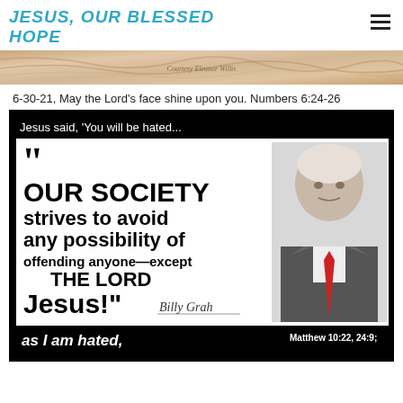JESUS, OUR BLESSED HOPE
[Figure (photo): Decorative banner image with marbled tan/brown/pink tones and cursive text overlay]
6-30-21, May the Lord's face shine upon you. Numbers 6:24-26
[Figure (infographic): Black-bordered image with quote by Billy Graham: Jesus said, 'You will be hated... OUR SOCIETY strives to avoid any possibility of offending anyone—except THE LORD Jesus!' with photo of elderly man and reference Matthew 10:22, 24:9; and bottom text 'as I am hated,']